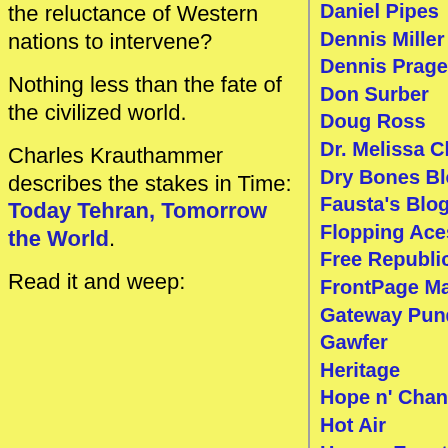the reluctance of Western nations to intervene?
Nothing less than the fate of the civilized world.
Charles Krauthammer describes the stakes in Time: Today Tehran, Tomorrow the World.
Read it and weep:
Daniel Pipes
Dennis Miller
Dennis Prager
Don Surber
Doug Ross
Dr. Melissa Clouthier
Dry Bones Blog
Fausta's Blog
Flopping Aces
Free Republic
FrontPage Magazine
Gateway Pundit
Gawfer
Heritage
Hope n' Change Cartoons
Hot Air
Human Events
IMAO